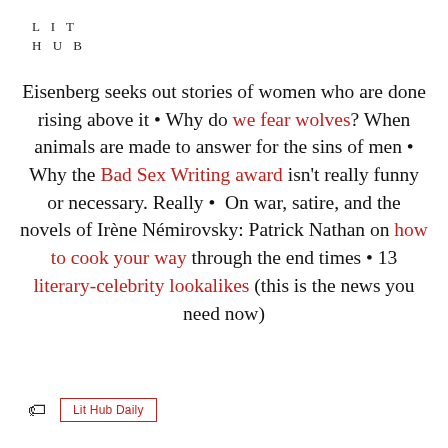LIT
HUB
Eisenberg seeks out stories of women who are done rising above it • Why do we fear wolves? When animals are made to answer for the sins of men • Why the Bad Sex Writing award isn't really funny or necessary. Really •  On war, satire, and the novels of Irène Némirovsky: Patrick Nathan on how to cook your way through the end times • 13 literary-celebrity lookalikes (this is the news you need now)
Lit Hub Daily